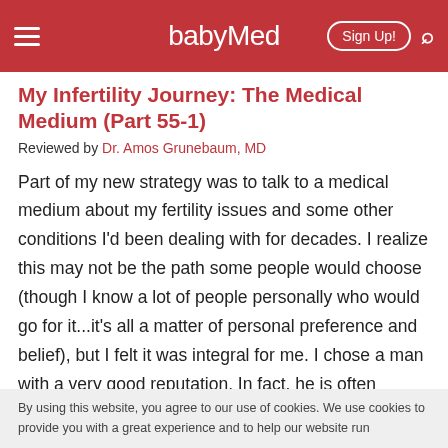babyMed — Sign Up!
My Infertility Journey: The Medical Medium (Part 55-1)
Reviewed by Dr. Amos Grunebaum, MD
Part of my new strategy was to talk to a medical medium about my fertility issues and some other conditions I'd been dealing with for decades. I realize this may not be the path some people would choose (though I know a lot of people personally who would go for it...it's all a matter of personal preference and belief), but I felt it was integral for me. I chose a man with a very good reputation. In fact, he is often referred to as the
By using this website, you agree to our use of cookies. We use cookies to provide you with a great experience and to help our website run